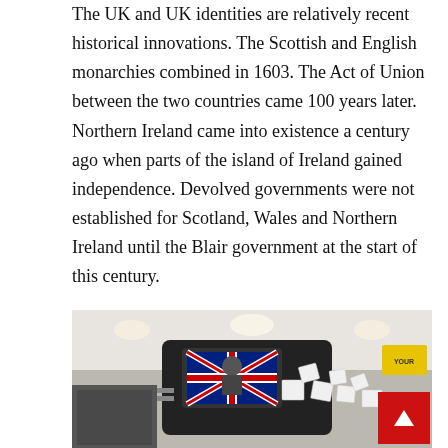The UK and UK identities are relatively recent historical innovations. The Scottish and English monarchies combined in 1603. The Act of Union between the two countries came 100 years later. Northern Ireland came into existence a century ago when parts of the island of Ireland gained independence. Devolved governments were not established for Scotland, Wales and Northern Ireland until the Blair government at the start of this century.
From Owen Glyndwr and Robert the Bruce to the IRA, none of these changes have come without violence.
[Figure (photo): A photo of a large construction vehicle or forklift decorated with a Union Jack flag, with boxes scattered around, in an industrial warehouse setting. A red scroll-to-top button is visible in the bottom right corner.]